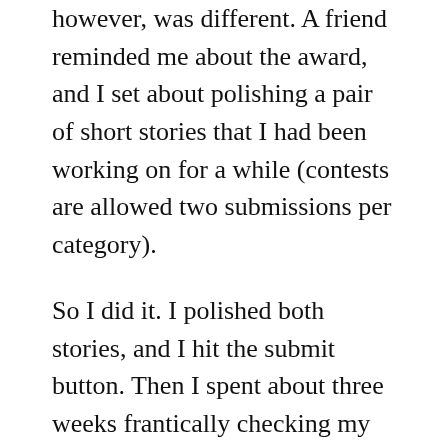however, was different. A friend reminded me about the award, and I set about polishing a pair of short stories that I had been working on for a while (contests are allowed two submissions per category).
So I did it. I polished both stories, and I hit the submit button. Then I spent about three weeks frantically checking my email.
To be honest, I felt that my chances of winning something were pretty good. It still felt great when I got second place. It was amazing.
The past several years I have grown a lot more comfortable with sharing my work. I've even gotten to the point where I am honestly proud